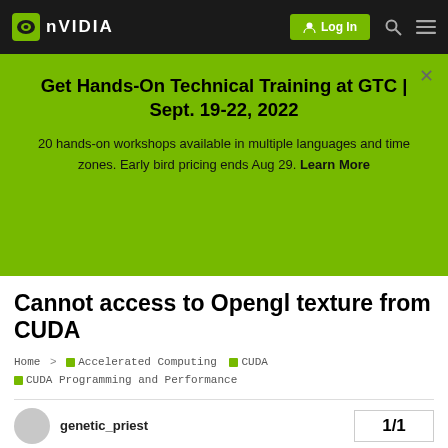NVIDIA — Log In
Get Hands-On Technical Training at GTC | Sept. 19-22, 2022
20 hands-on workshops available in multiple languages and time zones. Early bird pricing ends Aug 29. Learn More
Cannot access to Opengl texture from CUDA
Home > Accelerated Computing  CUDA  CUDA Programming and Performance
genetic_priest